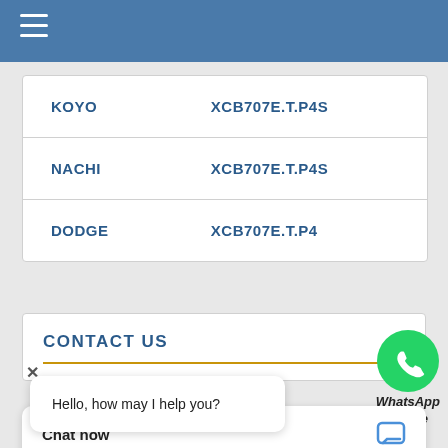Navigation menu
| Brand | Part Number |
| --- | --- |
| KOYO | XCB707E.T.P4S |
| NACHI | XCB707E.T.P4S |
| DODGE | XCB707E.T.P4S |
[Figure (logo): WhatsApp green phone icon with WhatsApp Online label]
CONTACT US
Hello, how may I help you?
Chat now